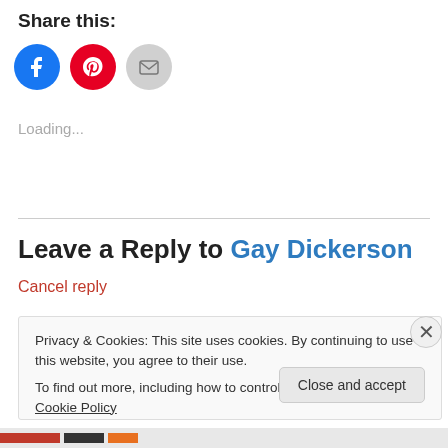Share this:
[Figure (illustration): Three social sharing icon circles: Facebook (blue), Pinterest (red), Email (gray)]
Loading...
Leave a Reply to Gay Dickerson
Cancel reply
Privacy & Cookies: This site uses cookies. By continuing to use this website, you agree to their use.
To find out more, including how to control cookies, see here: Cookie Policy
Close and accept